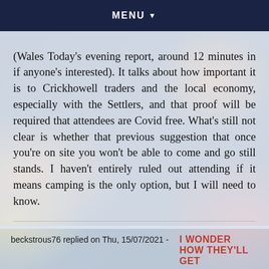MENU
(Wales Today's evening report, around 12 minutes in if anyone's interested). It talks about how important it is to Crickhowell traders and the local economy, especially with the Settlers, and that proof will be required that attendees are Covid free. What's still not clear is whether that previous suggestion that once you're on site you won't be able to come and go still stands. I haven't entirely ruled out attending if it means camping is the only option, but I will need to know.
beckstrous76 replied on Thu, 15/07/2021 -
I WONDER HOW THEY'LL GET
Log in or register to post comments